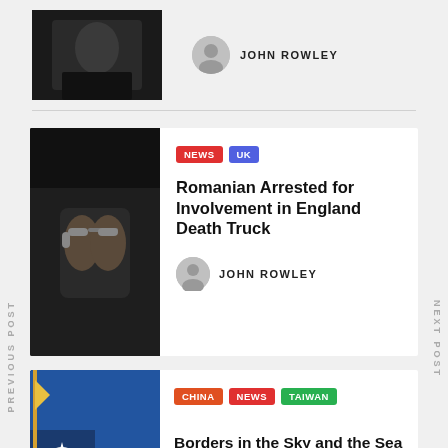[Figure (photo): Top partial photo of person in dark clothing with arms crossed]
JOHN ROWLEY
[Figure (photo): Photo of handcuffed hands in dark setting]
NEWS  UK
Romanian Arrested for Involvement in England Death Truck
JOHN ROWLEY
[Figure (photo): Taiwan flag photo with blue sky background]
CHINA  NEWS  TAIWAN
Borders in the Sky and the Sea are Fueling Tensions Between China and Taiwan